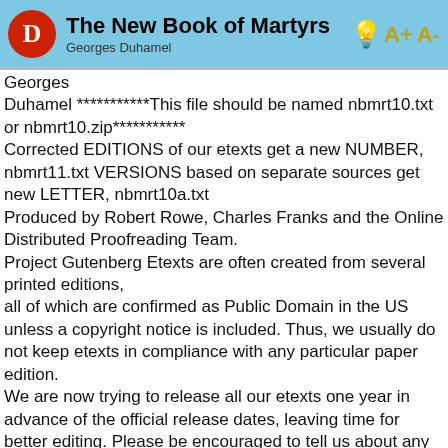The New Book of Martyrs — Georges Duhamel
Georges
Duhamel ***********This file should be named nbmrt10.txt or nbmrt10.zip***********
Corrected EDITIONS of our etexts get a new NUMBER, nbmrt11.txt VERSIONS based on separate sources get new LETTER, nbmrt10a.txt
Produced by Robert Rowe, Charles Franks and the Online Distributed Proofreading Team.
Project Gutenberg Etexts are often created from several printed editions,
all of which are confirmed as Public Domain in the US unless a copyright notice is included. Thus, we usually do not keep etexts in compliance with any particular paper edition.
We are now trying to release all our etexts one year in advance of the official release dates, leaving time for better editing. Please be encouraged to tell us about any error or corrections, even years after the